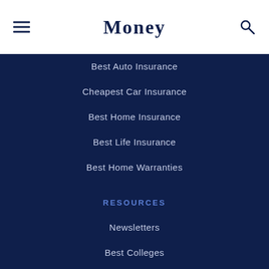Money
Best Auto Insurance
Cheapest Car Insurance
Best Home Insurance
Best Life Insurance
Best Home Warranties
RESOURCES
Newsletters
Best Colleges
Best Hospitals
Best Places to Live